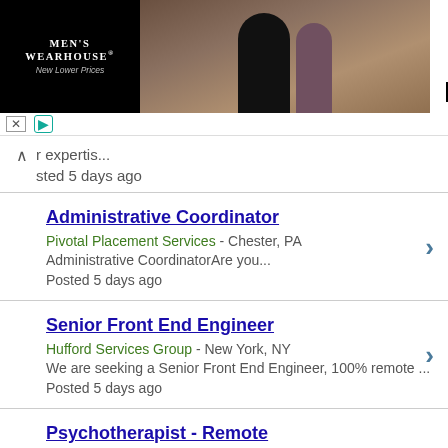[Figure (screenshot): Men's Wearhouse advertisement banner showing a couple in formalwear and a man in a suit with VIEW button]
ir expertis...
sted 5 days ago
Administrative Coordinator
Pivotal Placement Services - Chester, PA
Administrative CoordinatorAre you...
Posted 5 days ago
Senior Front End Engineer
Hufford Services Group - New York, NY
We are seeking a Senior Front End Engineer, 100% remote ...
Posted 5 days ago
Psychotherapist - Remote
Guideline Healthcare - Philadelphia, PA
Fully Remote Licensed Therapist / Counselor